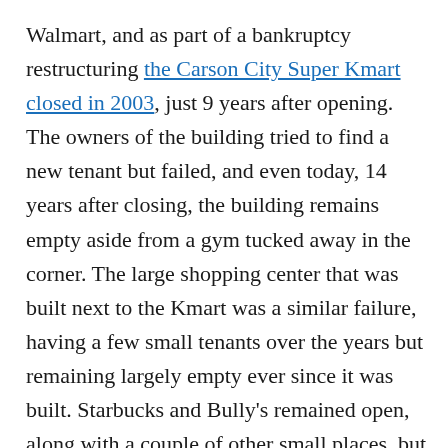Walmart, and as part of a bankruptcy restructuring the Carson City Super Kmart closed in 2003, just 9 years after opening. The owners of the building tried to find a new tenant but failed, and even today, 14 years after closing, the building remains empty aside from a gym tucked away in the corner. The large shopping center that was built next to the Kmart was a similar failure, having a few small tenants over the years but remaining largely empty ever since it was built. Starbucks and Bully's remained open, along with a couple of other small places, but overall that shopping center had become a ghost town.